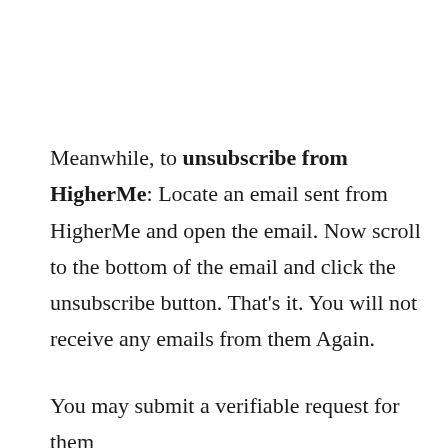Meanwhile, to unsubscribe from HigherMe: Locate an email sent from HigherMe and open the email. Now scroll to the bottom of the email and click the unsubscribe button. That's it. You will not receive any emails from them Again.
You may submit a verifiable request for them